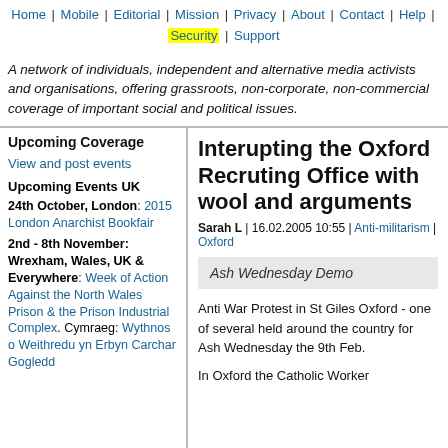Home | Mobile | Editorial | Mission | Privacy | About | Contact | Help | Security | Support
A network of individuals, independent and alternative media activists and organisations, offering grassroots, non-corporate, non-commercial coverage of important social and political issues.
Upcoming Coverage
View and post events
Upcoming Events UK
24th October, London: 2015 London Anarchist Bookfair
2nd - 8th November: Wrexham, Wales, UK & Everywhere: Week of Action Against the North Wales Prison & the Prison Industrial Complex. Cymraeg: Wythnos o Weithredu yn Erbyn Carchar Gogledd
Interupting the Oxford Recruting Office with wool and arguments
Sarah L | 16.02.2005 10:55 | Anti-militarism | Oxford
Ash Wednesday Demo
Anti War Protest in St Giles Oxford - one of several held around the country for Ash Wednesday the 9th Feb.
In Oxford the Catholic Worker